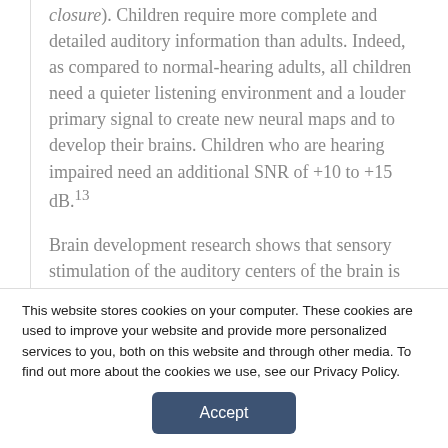closure). Children require more complete and detailed auditory information than adults. Indeed, as compared to normal-hearing adults, all children need a quieter listening environment and a louder primary signal to create new neural maps and to develop their brains. Children who are hearing impaired need an additional SNR of +10 to +15 dB.13
Brain development research shows that sensory stimulation of the auditory centers of the brain is critically important and, indeed, influences the actual
This website stores cookies on your computer. These cookies are used to improve your website and provide more personalized services to you, both on this website and through other media. To find out more about the cookies we use, see our Privacy Policy.